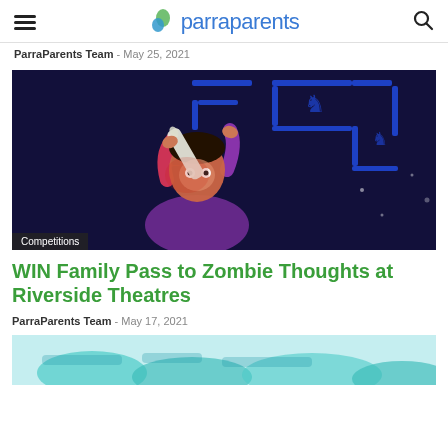parraparents
ParraParents Team - May 25, 2021
[Figure (photo): Performer on stage holding a bottle aloft, illuminated by blue and red stage lighting, with a blue neon maze-like backdrop. A 'Competitions' badge overlays the bottom-left corner.]
WIN Family Pass to Zombie Thoughts at Riverside Theatres
ParraParents Team - May 17, 2021
[Figure (photo): Partial view of another article's hero image, showing teal/aqua colored imagery, cropped at bottom of page.]